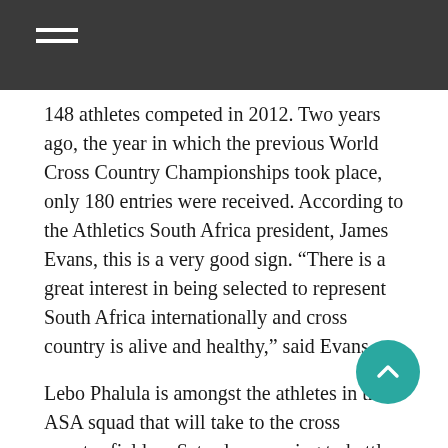148 athletes competed in 2012.  Two years ago, the year in which the previous World Cross Country Championships took place, only 180 entries were received.  According to the Athletics South Africa president, James Evans, this is a very good sign. “There is a great interest in being selected to represent South Africa internationally and cross country is alive and healthy,” said Evans.
Lebo Phalula is amongst the athletes in the ASA squad that will take to the cross country field on Saturday morning to battle it out for a spot in the team.  And she knows that she will have to work hard to secure her place.  “Because I don’t know how many athletes they are picking for the team, my aim is to finish in the top 3,” said Lebo Phalula.
The 29 year-old 2011 SA Cross Country Champion has a lot of experience as she has been selected to